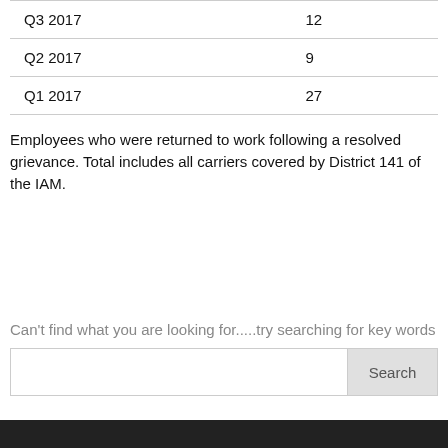|  |  |
| --- | --- |
| Q3 2017 | 12 |
| Q2 2017 | 9 |
| Q1 2017 | 27 |
Employees who were returned to work following a resolved grievance. Total includes all carriers covered by District 141 of the IAM.
Can't find what you are looking for.....try searching for key words